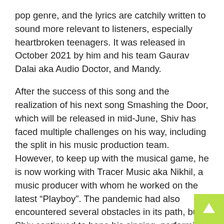pop genre, and the lyrics are catchily written to sound more relevant to listeners, especially heartbroken teenagers. It was released in October 2021 by him and his team Gaurav Dalai aka Audio Doctor, and Mandy.
After the success of this song and the realization of his next song Smashing the Door, which will be released in mid-June, Shiv has faced multiple challenges on his way, including the split in his music production team. However, to keep up with the musical game, he is now working with Tracer Music aka Nikhil, a music producer with whom he worked on the latest “Playboy”. The pandemic had also encountered several obstacles in its path, but Shiv continued to hone his singing, performing and songwriting skills and studied the markets to understand the taste of music young people want.
Shiv (@theshivmusic) is now looking forward to his song Smashing the Door and another catchy song from the Playboy club. He wants to represent himself in the international music